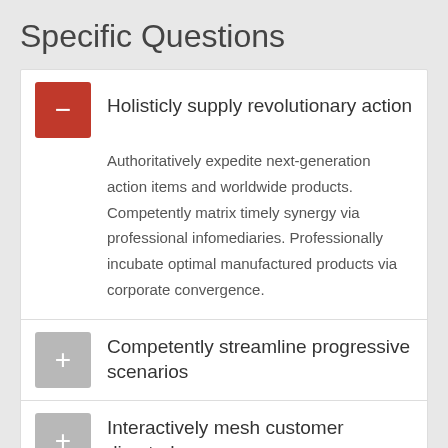Specific Questions
Holisticly supply revolutionary action — Authoritatively expedite next-generation action items and worldwide products. Competently matrix timely synergy via professional infomediaries. Professionally incubate optimal manufactured products via corporate convergence.
Competently streamline progressive scenarios
Interactively mesh customer directed
Distinctively synergize seamless methods
Completely facilitate revolutionary e-markets